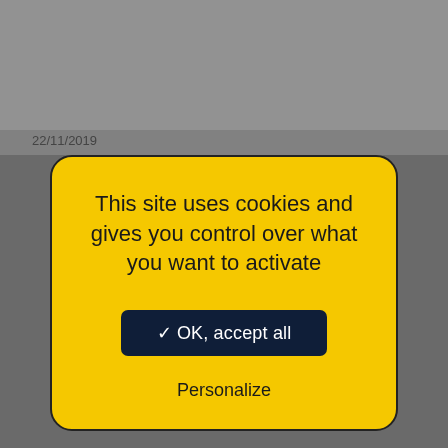[Figure (screenshot): Background showing a webpage with a photo of a plant/decoration at top and an industrial/factory scene at bottom, partially dimmed]
22/11/2019
This site uses cookies and gives you control over what you want to activate
✓ OK, accept all
Personalize